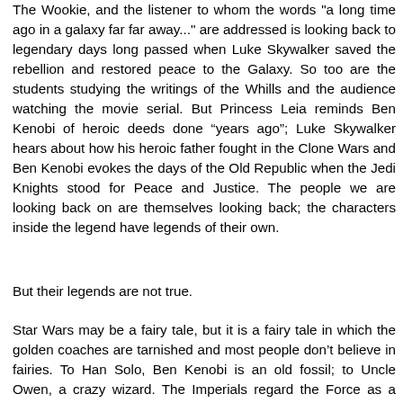The Wookie, and the listener to whom the words "a long time ago in a galaxy far far away..." are addressed is looking back to legendary days long passed when Luke Skywalker saved the rebellion and restored peace to the Galaxy. So too are the students studying the writings of the Whills and the audience watching the movie serial. But Princess Leia reminds Ben Kenobi of heroic deeds done “years ago”; Luke Skywalker hears about how his heroic father fought in the Clone Wars and Ben Kenobi evokes the days of the Old Republic when the Jedi Knights stood for Peace and Justice. The people we are looking back on are themselves looking back; the characters inside the legend have legends of their own.
But their legends are not true.
Star Wars may be a fairy tale, but it is a fairy tale in which the golden coaches are tarnished and most people don’t believe in fairies. To Han Solo, Ben Kenobi is an old fossil; to Uncle Owen, a crazy wizard. The Imperials regard the Force as a quaintly obsolescent superstition; Han disbelieves in it altogether. Granted, in Episode IV the fairy tales all come